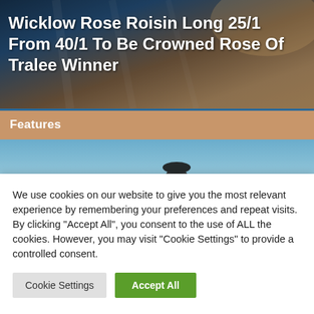[Figure (photo): Background hero image showing a deck/patio area with warm tones]
Wicklow Rose Roisin Long 25/1 From 40/1 To Be Crowned Rose Of Tralee Winner
Features
[Figure (photo): Outdoor photo of a large bronze running statue near the sea, with a small child in a red coat standing nearby. Sky and sea in background.]
Greystones notes week August 22nd
We use cookies on our website to give you the most relevant experience by remembering your preferences and repeat visits. By clicking “Accept All”, you consent to the use of ALL the cookies. However, you may visit "Cookie Settings" to provide a controlled consent.